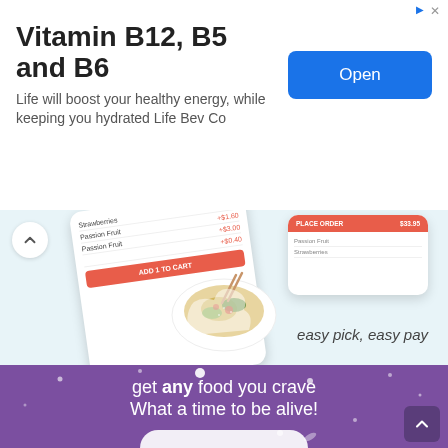Vitamin B12, B5 and B6
Life will boost your healthy energy, while keeping you hydrated Life Bev Co
[Figure (screenshot): App screenshots showing food ordering interface with cart items (Passion Fruit +$1.80, +$1.60, +$3.00, ADD 1 TO CART button) and PLACE ORDER button, with a food bowl in the center. Text reads 'easy pick, easy pay']
[Figure (infographic): Purple background section with white text reading 'get any food you crave What a time to be alive!' with decorative dots and a white food container at bottom]